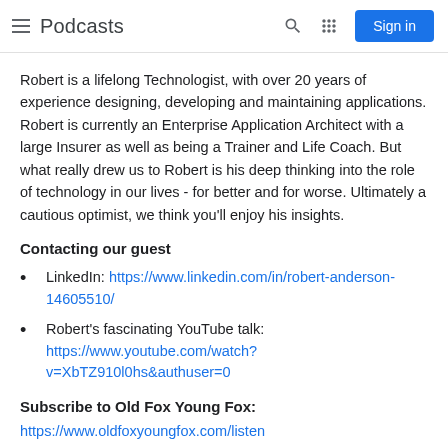Podcasts | Sign in
Robert is a lifelong Technologist, with over 20 years of experience designing, developing and maintaining applications. Robert is currently an Enterprise Application Architect with a large Insurer as well as being a Trainer and Life Coach. But what really drew us to Robert is his deep thinking into the role of technology in our lives - for better and for worse. Ultimately a cautious optimist, we think you'll enjoy his insights.
Contacting our guest
LinkedIn: https://www.linkedin.com/in/robert-anderson-14605510/
Robert's fascinating YouTube talk: https://www.youtube.com/watch?v=XbTZ910l0hs&authuser=0
Subscribe to Old Fox Young Fox:
https://www.oldfoxyoungfox.com/listen